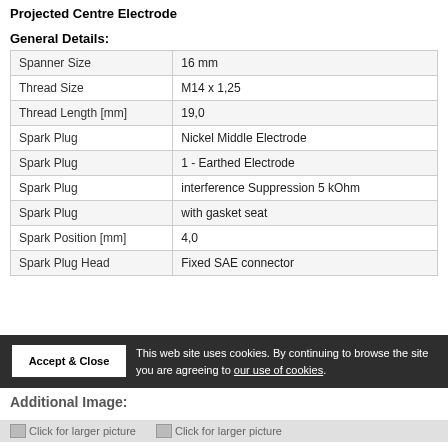Projected Centre Electrode
General Details:
|  |  |
| --- | --- |
| Spanner Size | 16 mm |
| Thread Size | M14 x 1,25 |
| Thread Length [mm] | 19,0 |
| Spark Plug | Nickel Middle Electrode |
| Spark Plug | 1 - Earthed Electrode |
| Spark Plug | interference Suppression 5 kOhm |
| Spark Plug | with gasket seat |
| Spark Position [mm] | 4,0 |
| Spark Plug Head | Fixed SAE connector |
This web site uses cookies. By continuing to browse the site you are agreeing to our use of cookies.
Additional Image:
Click for larger picture   Click for larger picture